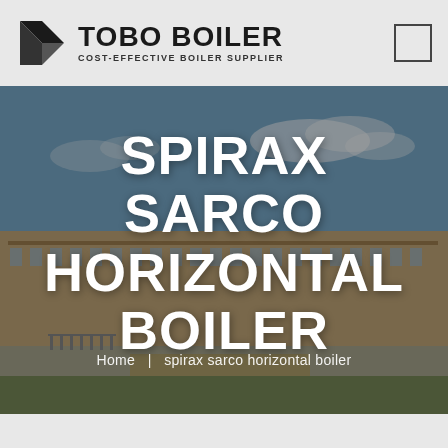[Figure (logo): TOBO BOILER logo with geometric icon, tagline COST-EFFECTIVE BOILER SUPPLIER]
[Figure (photo): Hero banner showing a factory/industrial building (Anyang Fangkuai Boiler Co., Ltd.) under blue sky with white overlay text reading SPIRAX SARCO HORIZONTAL BOILER and breadcrumb Home | spirax sarco horizontal boiler]